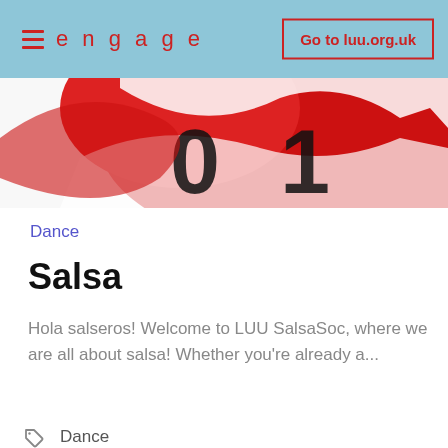≡ engage  Go to luu.org.uk
[Figure (illustration): Partial view of a red and black salsa dance logo/graphic cropped at top]
Dance
Salsa
Hola salseros! Welcome to LUU SalsaSoc, where we are all about salsa! Whether you're already a...
Dance
[Figure (illustration): Partial view of a purple circular logo with a palm tree silhouette, cropped at bottom of page]